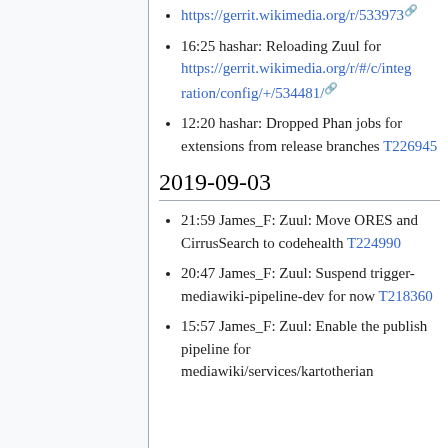https://gerrit.wikimedia.org/r/533973
16:25 hashar: Reloading Zuul for https://gerrit.wikimedia.org/r/#/c/integration/config/+/534481/
12:20 hashar: Dropped Phan jobs for extensions from release branches T226945
2019-09-03
21:59 James_F: Zuul: Move ORES and CirrusSearch to codehealth T224990
20:47 James_F: Zuul: Suspend trigger-mediawiki-pipeline-dev for now T218360
15:57 James_F: Zuul: Enable the publish pipeline for mediawiki/services/kartotherian